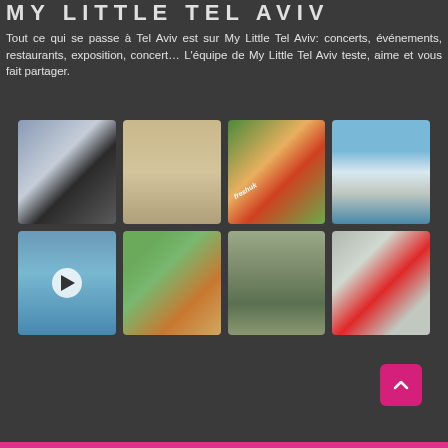MY LITTLE TEL AVIV
Tout ce qui se passe à Tel Aviv est sur My Little Tel Aviv: concerts, événements, restaurants, exposition, concert… L'équipe de My Little Tel Aviv teste, aime et vous fait partager.
[Figure (photo): Grid of 8 Instagram photos showing Tel Aviv scenes: architecture, beach hut, fruit box, beach chairs, skyline video, waterfront, garden aerial, TEL AVIV sign]
[Figure (infographic): Follow us on Instagram button in blue]
[Figure (other): Back to top arrow button in pink/magenta]